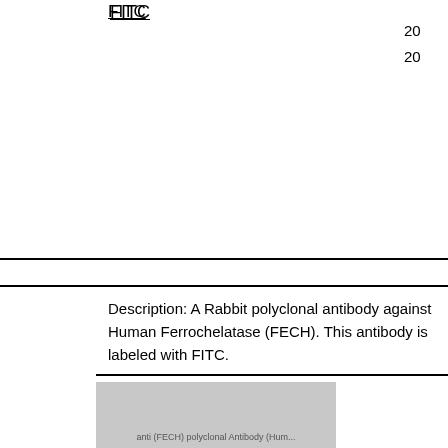FITC
372.00
EUR
195.00
EUR
20
20
Description: A Rabbit polyclonal antibody against Human Ferrochelatase (FECH). This antibody is labeled with FITC.
[Figure (photo): Product image placeholder for FECH antibody, grey rectangle with text overlay]
Ferrochelatase (FECH) Polyclonal Antibody (Human), PE
296.00
EUR
2640.00
EUR
10